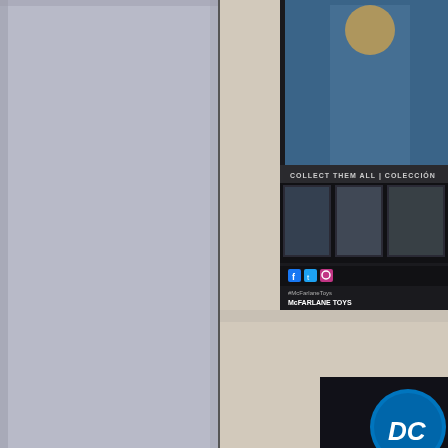[Figure (photo): Left panel showing a light blue-gray/lavender colored surface, likely a product packaging or display background, taking up the left half of the image.]
[Figure (photo): Top right photo showing the back of a McFarlane Toys DC Comics action figure box. Visible text reads 'COLLECT THEM ALL | COLECCION...' with small product images below it showing multiple action figures. Social media icons (Facebook, Twitter, Instagram) and McFarlaneToys handle are visible, along with the McFarlane Toys logo and legal text at the bottom of the packaging.]
[Figure (photo): Bottom right photo showing a partial view of another McFarlane Toys DC Comics product box on a beige/cream textured surface, with the DC Comics logo (white letters on blue circle) partially visible at the bottom right corner.]